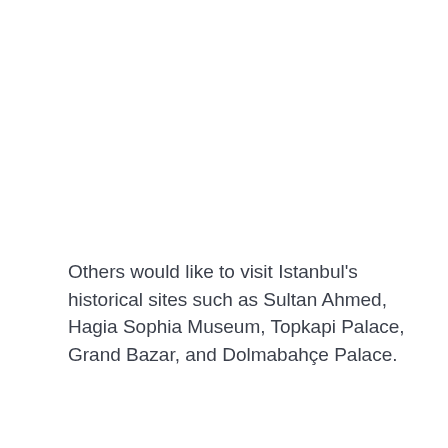Others would like to visit Istanbul's historical sites such as Sultan Ahmed, Hagia Sophia Museum, Topkapi Palace, Grand Bazar, and Dolmabahçe Palace.